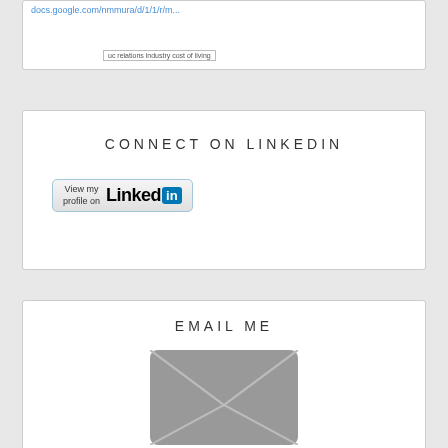[Figure (screenshot): Top portion of a browser/search widget showing a blue URL link and a search bar with 'uc relations industry cost of living']
CONNECT ON LINKEDIN
[Figure (logo): LinkedIn 'View my profile on LinkedIn' button with gradient background and LinkedIn logo]
EMAIL ME
[Figure (illustration): Grey email envelope icon]